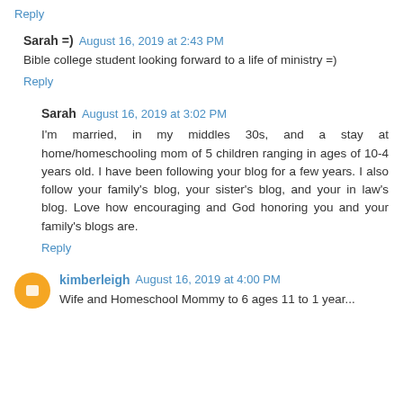Reply
Sarah =)  August 16, 2019 at 2:43 PM
Bible college student looking forward to a life of ministry =)
Reply
Sarah  August 16, 2019 at 3:02 PM
I'm married, in my middles 30s, and a stay at home/homeschooling mom of 5 children ranging in ages of 10-4 years old. I have been following your blog for a few years. I also follow your family's blog, your sister's blog, and your in law's blog. Love how encouraging and God honoring you and your family's blogs are.
Reply
kimberleigh  August 16, 2019 at 4:00 PM
Wife and Homeschool Mommy to 6 ages 11 to 1 year...